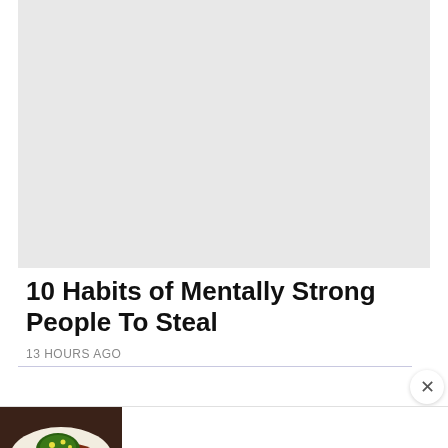[Figure (photo): Light gray rectangular placeholder image area for article thumbnail]
10 Habits of Mentally Strong People To Steal
13 HOURS AGO
[Figure (photo): Advertisement banner showing a plate of food with beef]
Dinner Is Better With Beef.